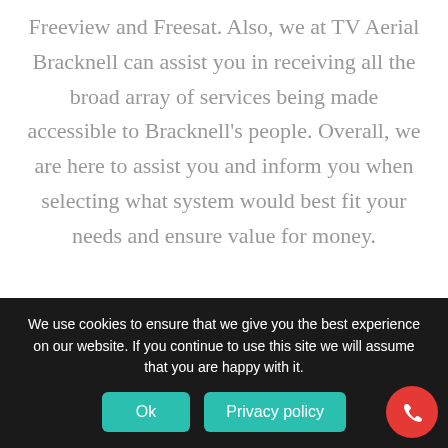Freeview and Freesat. Also, we at TV Aerial Bracknell can assist you in receiving all the broad array of services being made accessible to Bracknell's people. Overall, we are here to assist you and inform you when selecting what system would best fit your needs and ensure value for money.
Further, TV Aerial Installation Bracknell has been operating for the last 25 years, have been
We use cookies to ensure that we give you the best experience on our website. If you continue to use this site we will assume that you are happy with it.